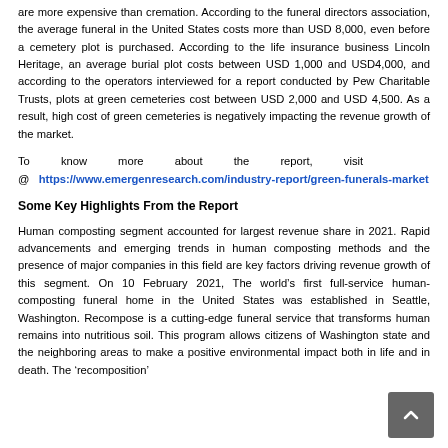are more expensive than cremation. According to the funeral directors association, the average funeral in the United States costs more than USD 8,000, even before a cemetery plot is purchased. According to the life insurance business Lincoln Heritage, an average burial plot costs between USD 1,000 and USD4,000, and according to the operators interviewed for a report conducted by Pew Charitable Trusts, plots at green cemeteries cost between USD 2,000 and USD 4,500. As a result, high cost of green cemeteries is negatively impacting the revenue growth of the market.
To know more about the report, visit @ https://www.emergenresearch.com/industry-report/green-funerals-market
Some Key Highlights From the Report
Human composting segment accounted for largest revenue share in 2021. Rapid advancements and emerging trends in human composting methods and the presence of major companies in this field are key factors driving revenue growth of this segment. On 10 February 2021, The world's first full-service human-composting funeral home in the United States was established in Seattle, Washington. Recompose is a cutting-edge funeral service that transforms human remains into nutritious soil. This program allows citizens of Washington state and the neighboring areas to make a positive environmental impact both in life and in death. The 'recomposition'